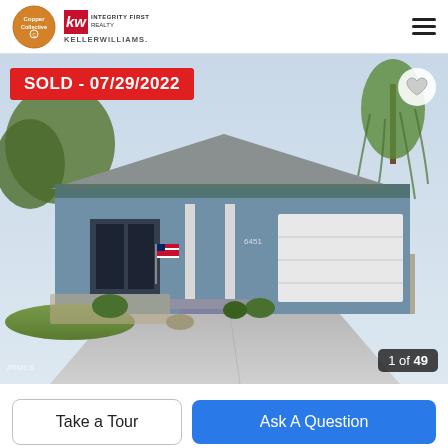Copper Collective | KW Integrity First Realty Keller Williams
[Figure (photo): Exterior photo of a single-story ranch-style home with blue-gray siding, white garage door, American flag, desert landscaping, and a large concrete driveway. Trees visible in background. 'SOLD - 07/29/2022' banner overlaid top-left. '1 of 49' photo counter bottom-right.]
SOLD - 07/29/2022
1 of 49
Take a Tour
Ask A Question